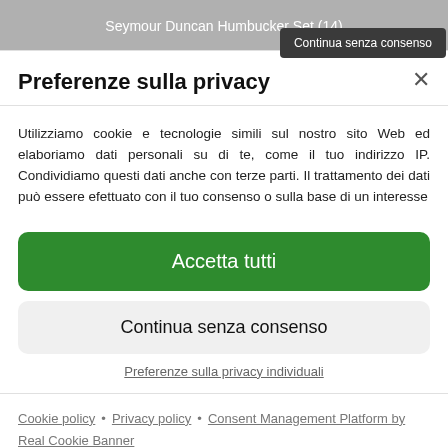Seymour Duncan Humbucker Set (14)
Continua senza consenso
Preferenze sulla privacy
Utilizziamo cookie e tecnologie simili sul nostro sito Web ed elaboriamo dati personali su di te, come il tuo indirizzo IP. Condividiamo questi dati anche con terze parti. Il trattamento dei dati può essere efettuato con il tuo consenso o sulla base di un interesse
Accetta tutti
Continua senza consenso
Preferenze sulla privacy individuali
Cookie policy • Privacy policy • Consent Management Platform by Real Cookie Banner